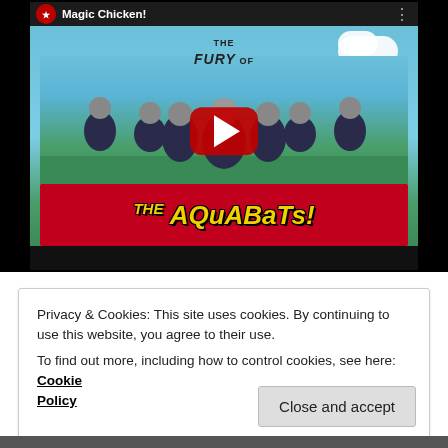[Figure (screenshot): YouTube video thumbnail showing The Aquabats band with title 'Magic Chicken!' and channel avatar, with large red play button overlay. The thumbnail shows multiple band members in matching costumes with silver helmets on a grass/sky background, with the red Aquabats logo banner at the bottom. The video header shows the channel name 'Magic Chicken!' with a three-dot menu.]
Privacy & Cookies: This site uses cookies. By continuing to use this website, you agree to their use.
To find out more, including how to control cookies, see here: Cookie Policy
Close and accept